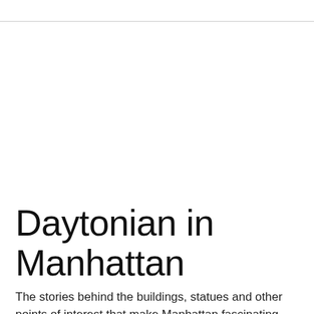Daytonian in Manhattan
The stories behind the buildings, statues and other points of interest that make Manhattan fascinating.
Monday, January 19, 2015
The Lost Maxine Elliott's Theatre -- No